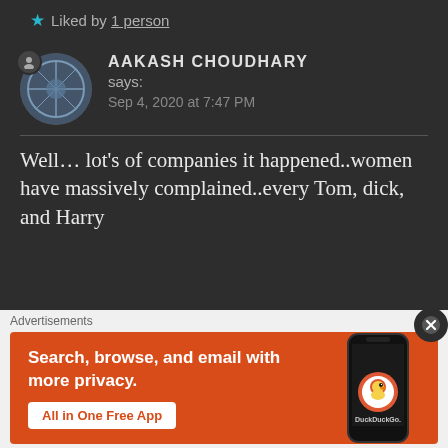Liked by 1 person
AAKASH CHOUDHARY says:
Sep 4, 2020 at 7:47 PM
Well… lot's of companies it happened..women have massively complained..every Tom, dick, and Harry
Advertisements
[Figure (other): DuckDuckGo advertisement banner: orange background with text 'Search, browse, and email with more privacy. All in One Free App' and a phone graphic with DuckDuckGo logo]